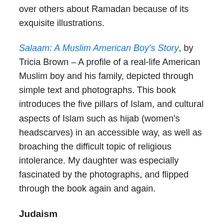over others about Ramadan because of its exquisite illustrations.
Salaam: A Muslim American Boy's Story, by Tricia Brown – A profile of a real-life American Muslim boy and his family, depicted through simple text and photographs. This book introduces the five pillars of Islam, and cultural aspects of Islam such as hijab (women's headscarves) in an accessible way, as well as broaching the difficult topic of religious intolerance. My daughter was especially fascinated by the photographs, and flipped through the book again and again.
Judaism
What Makes Someone a Jew? by Lauren Seidman – With rhyming text and color photographs, this book introduces children to the diversity of Jews around the world.